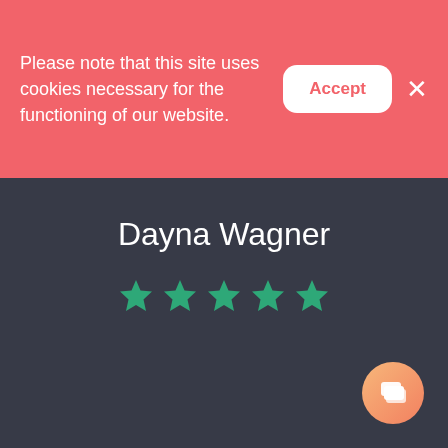Please note that this site uses cookies necessary for the functioning of our website.
Dayna Wagner
[Figure (other): Five green filled star rating icons displayed in a row]
[Figure (other): Orange gradient circular chat button in bottom right corner]